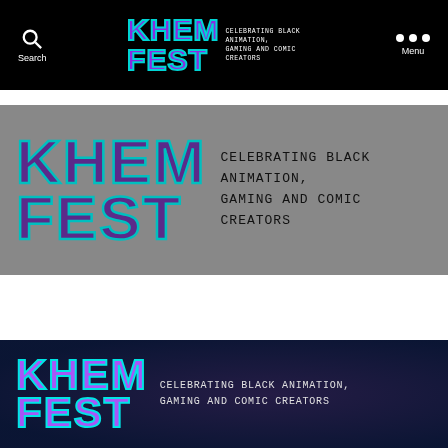KHEM FEST — Celebrating Black Animation, Gaming and Comic Creators
[Figure (logo): KhemFest logo on gray background with text CELEBRATING BLACK ANIMATION, GAMING AND COMIC CREATORS]
[Figure (logo): KhemFest logo on dark navy background with text CELEBRATING BLACK ANIMATION, GAMING AND COMIC CREATORS]